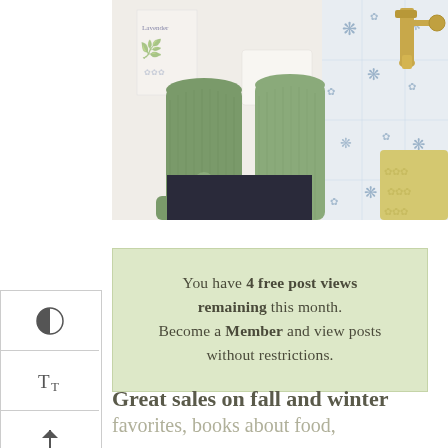[Figure (photo): Two green knitted/textured Christmas stockings hanging on a white door with blue floral tile pattern, with a gold wall sconce and a yellow patterned cushion visible in the background]
You have 4 free post views remaining this month. Become a Member and view posts without restrictions.
Great sales on fall and winter favorites, books about food,